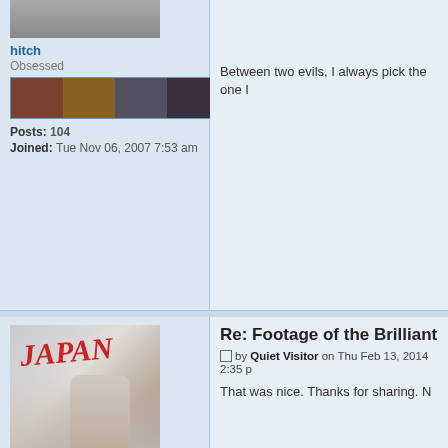[Figure (photo): User avatar image (top, partially visible)]
hitch
Obsessed
[Figure (illustration): Row of four face icons as rank indicator]
Posts: 104
Joined: Tue Nov 06, 2007 7:53 am
Between two evils, I always pick the one I
[Figure (photo): Japan album cover artwork with figure and red Japan text]
Quiet Visitor
Everything & Nothing
[Figure (illustration): Row of five face icons as rank indicator]
Posts: 675
Joined: Sat Oct 26, 2013 8:57 am
[Figure (illustration): Email envelope icon]
Re: Footage of the Brilliant Tr
by Quiet Visitor on Thu Feb 13, 2014 2:35
That was nice. Thanks for sharing. N
Re: Footage of the Brilliant Th
by silentwings on Thu Feb 13, 2014 4:55
[Figure (photo): User avatar photo (bottom, partially visible)]